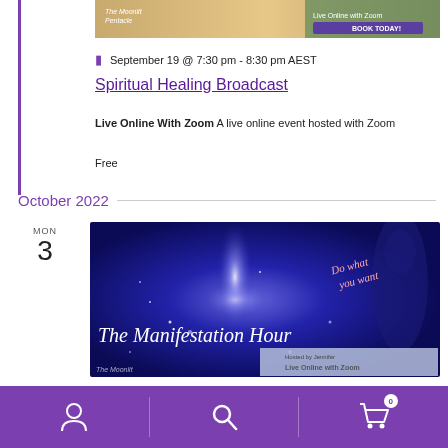[Figure (photo): Promotional banner image for a spiritual healing event showing hands and a 'Book Today' button with the Moonlit Pentacle logo]
September 19 @ 7:30 pm - 8:30 pm AEST
Spiritual Healing Broadcast
Live Online With Zoom A live online event hosted with Zoom
Free
October 2022
[Figure (photo): Promotional banner image for The Manifestation Hour event with blue glowing background, silhouette, and text 'Do what you want' and 'The Manifestation Hour', hosted Live Online with Zoom]
Navigation bar with user icon, search icon, and cart icon (0 items)